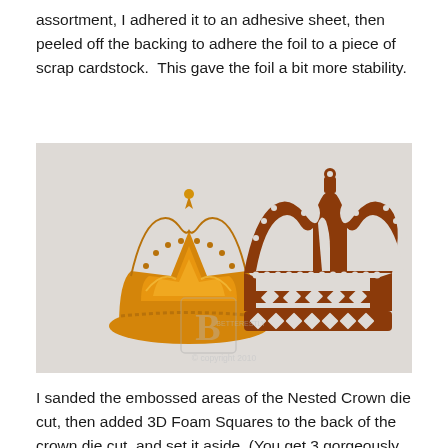assortment, I adhered it to an adhesive sheet, then peeled off the backing to adhere the foil to a piece of scrap cardstock.  This gave the foil a bit more stability.
[Figure (photo): Two crown die cuts side by side on a white fluffy background. Left crown is gold/yellow embossed foil with detailed raised design. Right crown is brown/dark red with cut-out lattice and dot details showing white through the openings. A watermark 'B' logo and '© copyright 2010' text is visible in the lower center of the image.]
I sanded the embossed areas of the Nested Crown die cut, then added 3D Foam Squares to the back of the crown die cut, and set it aside.  (You get 3 gorgeously